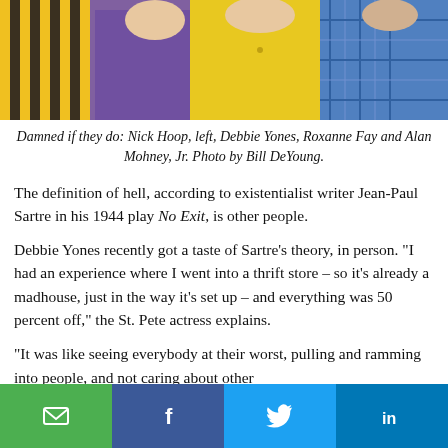[Figure (photo): Photo strip showing people from mid-body; person in striped yellow/black top on left, person in floral dress center-left, person in yellow cardigan center, person in blue plaid shirt right.]
Damned if they do: Nick Hoop, left, Debbie Yones, Roxanne Fay and Alan Mohney, Jr. Photo by Bill DeYoung.
The definition of hell, according to existentialist writer Jean-Paul Sartre in his 1944 play No Exit, is other people.
Debbie Yones recently got a taste of Sartre’s theory, in person. “I had an experience where I went into a thrift store – so it’s already a madhouse, just in the way it’s set up – and everything was 50 percent off,” the St. Pete actress explains.
“It was like seeing everybody at their worst, pulling and ramming into people, and not caring about other
[Figure (infographic): Social share buttons row: email (green), Facebook (blue), Twitter (light blue), LinkedIn (dark blue)]